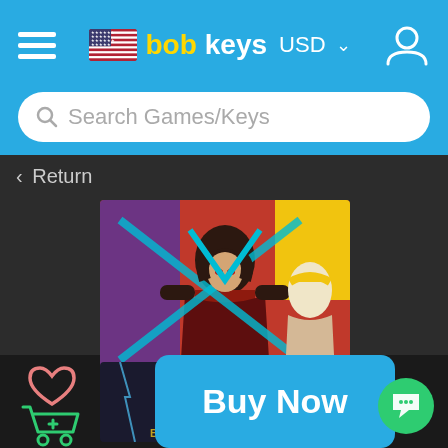bobkeys USD
Search Games/Keys
< Return
[Figure (screenshot): Anime fighting game key art with multiple characters, bright colors including red, blue, yellow]
Buy Now
[Figure (screenshot): BlazBlue anime game cover partial view at bottom]